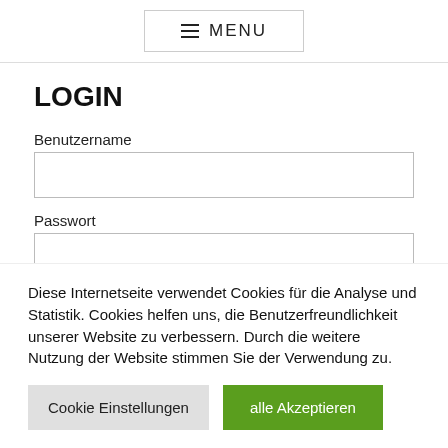≡ MENU
LOGIN
Benutzername
Passwort
Diese Internetseite verwendet Cookies für die Analyse und Statistik. Cookies helfen uns, die Benutzerfreundlichkeit unserer Website zu verbessern. Durch die weitere Nutzung der Website stimmen Sie der Verwendung zu.
Cookie Einstellungen
alle Akzeptieren